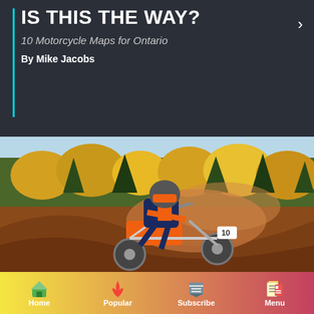IS THIS THE WAY?
10 Motorcycle Maps for Ontario
By Mike Jacobs
[Figure (photo): A motocross rider on an orange and white dirt bike navigating a dusty dirt berm with autumn trees in the background]
Home | Popular | Subscribe | Menu